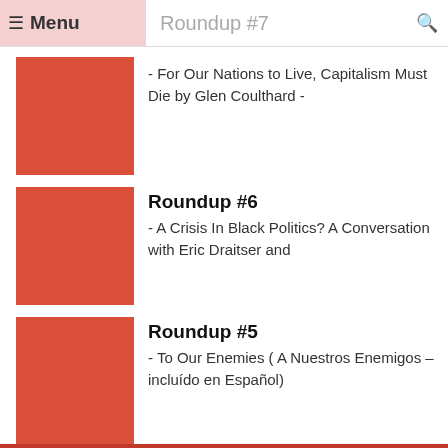Menu | Roundup #7
[Figure (illustration): Red square thumbnail image for Roundup #7]
- For Our Nations to Live, Capitalism Must Die by Glen Coulthard -
Roundup #6
[Figure (illustration): Red square thumbnail image for Roundup #6]
- A Crisis In Black Politics? A Conversation with Eric Draitser and
Roundup #5
[Figure (illustration): Red square thumbnail image for Roundup #5]
- To Our Enemies ( A Nuestros Enemigos – incluído en Español)